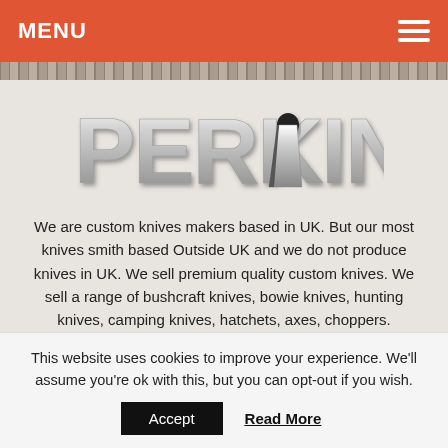MENU
[Figure (logo): PERKIN brand logo with stylized metallic letters and a knife blade incorporated into the design]
We are custom knives makers based in UK. But our most knives smith based Outside UK and we do not produce knives in UK. We sell premium quality custom knives. We sell a range of bushcraft knives, bowie knives, hunting knives, camping knives, hatchets, axes, choppers.
ABOUT
This website uses cookies to improve your experience. We'll assume you're ok with this, but you can opt-out if you wish.